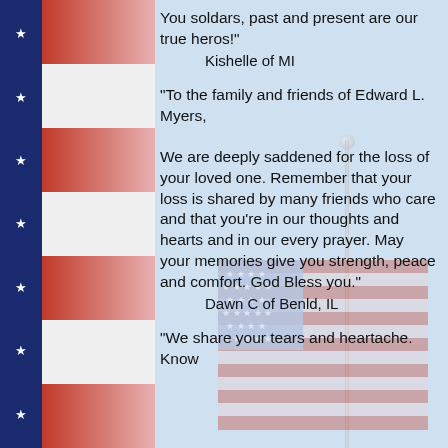You soldars, past and present are our true heros!"
    Kishelle of MI
"To the family and friends of Edward L. Myers,

We are deeply saddened for the loss of your loved one. Remember that your loss is shared by many friends who care and that you're in our thoughts and hearts and in our every prayer. May your memories give you strength, peace and comfort. God Bless you."
    Dawn C of Benld, IL
"We share your tears and heartache. Know
[Figure (illustration): Faded/watermark American flag with pole on the right side of the page]